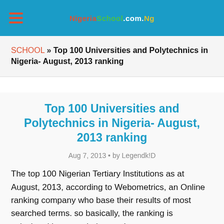NigeriaSchool.com.Ng
SCHOOL » Top 100 Universities and Polytechnics in Nigeria- August, 2013 ranking
Top 100 Universities and Polytechnics in Nigeria- August, 2013 ranking
Aug 7, 2013 • by Legendk!D
The top 100 Nigerian Tertiary Institutions as at August, 2013, according to Webometrics, an Online ranking company who base their results of most searched terms. so basically, the ranking is calculated base on their search term.
If you do not find your choice of Institution there